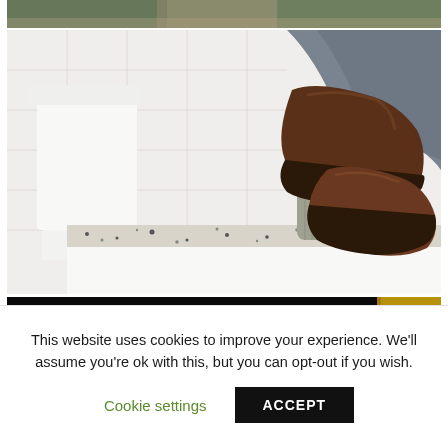[Figure (photo): Partial top of an outdoor or nature photo, showing dark green foliage and earth tones, cropped at the top of the page]
[Figure (photo): A bathroom scene showing a person's legs resting on a terrazzo-rimmed bathtub, wearing dark brown leather loafers and grey herringbone socks with grey trousers. A gold/brass faucet fixture and white tiled wall visible on the left side.]
[Figure (photo): A partially visible dark/black image with a gold-toned object visible on the right side, cropped at the bottom of the visible area.]
This website uses cookies to improve your experience. We'll assume you're ok with this, but you can opt-out if you wish.
Cookie settings
ACCEPT